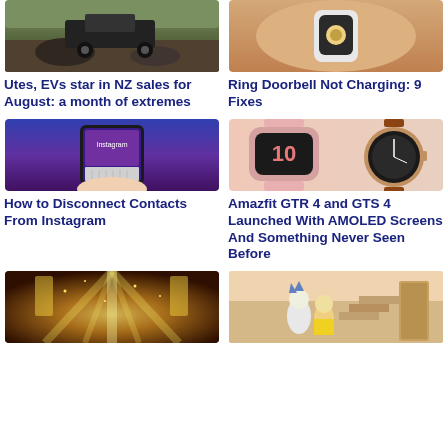[Figure (photo): Pickup truck parked on rocky terrain outdoors]
Utes, EVs star in NZ sales for August: a month of extremes
[Figure (photo): Person holding a Ring doorbell device]
Ring Doorbell Not Charging: 9 Fixes
[Figure (photo): Hand holding a smartphone showing the Instagram login screen with blue background]
How to Disconnect Contacts From Instagram
[Figure (photo): Amazfit GTR 4 and GTS 4 smartwatches displayed side by side, pink and brown strap]
Amazfit GTR 4 and GTS 4 Launched With AMOLED Screens And Something Never Seen Before
[Figure (photo): Golden light streaming through tall windows in a grand hall]
[Figure (photo): Rick and Morty cartoon scene in a house]